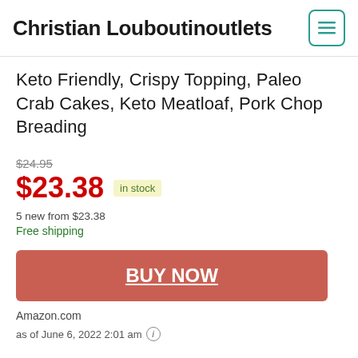Christian Louboutinoutlets
Keto Friendly, Crispy Topping, Paleo Crab Cakes, Keto Meatloaf, Pork Chop Breading
$24.95
$23.38 in stock
5 new from $23.38
Free shipping
BUY NOW
Amazon.com
as of June 6, 2022 2:01 am